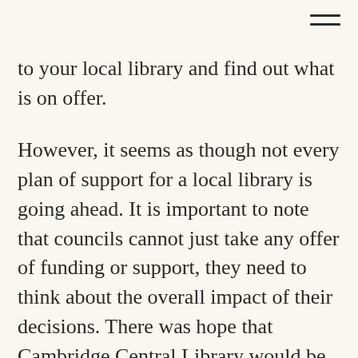≡
to your local library and find out what is on offer.
However, it seems as though not every plan of support for a local library is going ahead. It is important to note that councils cannot just take any offer of funding or support, they need to think about the overall impact of their decisions. There was hope that Cambridge Central Library would be able to add an enterprise centre at the premises, but these plans have been shelved by the local council after they carried out a U-Turn which has been classed as extraordinary by local media. The enterprise centre was due to be run by Kora, a private company, and less than a